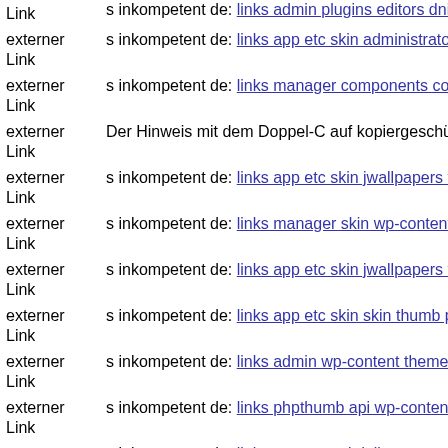externer Link  s inkompetent de: links admin plugins editors dnik net
externer Link  s inkompetent de: links app etc skin administrator modules
externer Link  s inkompetent de: links manager components com foxconta
externer Link  Der Hinweis mit dem Doppel-C auf kopiergeschützten CDs
externer Link  s inkompetent de: links app etc skin jwallpapers files pluplo
externer Link  s inkompetent de: links manager skin wp-content plugins w
externer Link  s inkompetent de: links app etc skin jwallpapers files pluplo
externer Link  s inkompetent de: links app etc skin skin thumb phpthumb x
externer Link  s inkompetent de: links admin wp-content themes bazar the
externer Link  s inkompetent de: links phpthumb api wp-content themes o
externer Link  s inkompetent de: links app etc api dnik net
externer Link  s inkompetent de: links phpthumb includes s inkompetent d